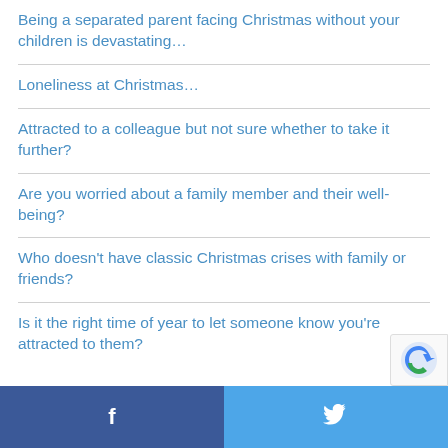Being a separated parent facing Christmas without your children is devastating…
Loneliness at Christmas…
Attracted to a colleague but not sure whether to take it further?
Are you worried about a family member and their well-being?
Who doesn't have classic Christmas crises with family or friends?
Is it the right time of year to let someone know you're attracted to them?
f  [Twitter bird icon]